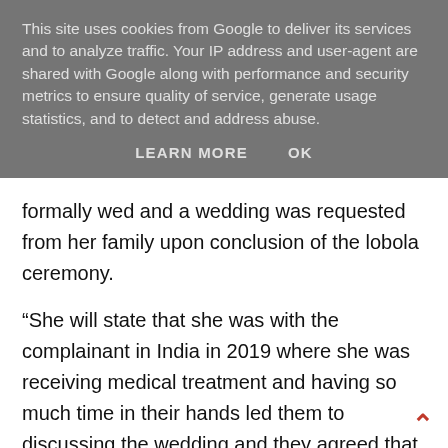This site uses cookies from Google to deliver its services and to analyze traffic. Your IP address and user-agent are shared with Google along with performance and security metrics to ensure quality of service, generate usage statistics, and to detect and address abuse.
LEARN MORE   OK
formally wed and a wedding was requested from her family upon conclusion of the lobola ceremony.
“She will state that she was with the complainant in India in 2019 where she was receiving medical treatment and having so much time in their hands led them to discussing the wedding and they agreed that if they would be back home by July 2, 2019 they would have a small wedding. She will further point out that the complainant indicated that he would ask the President to be the best man and since the date had been set, she believed he had asked him” reads her